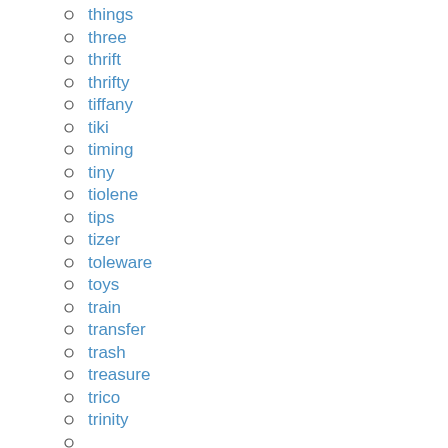things
three
thrift
thrifty
tiffany
tiki
timing
tiny
tiolene
tips
tizer
toleware
toys
train
transfer
trash
treasure
trico
trinity